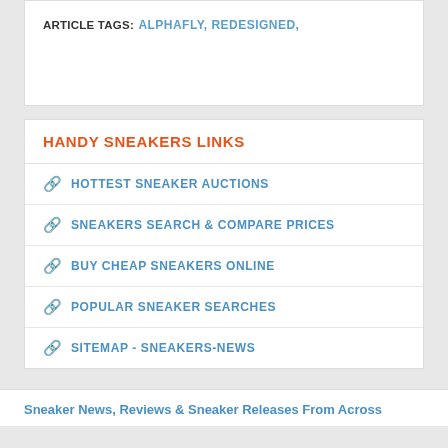ARTICLE TAGS:
ALPHAFLY, REDESIGNED,
HANDY SNEAKERS LINKS
HOTTEST SNEAKER AUCTIONS
SNEAKERS SEARCH & COMPARE PRICES
BUY CHEAP SNEAKERS ONLINE
POPULAR SNEAKER SEARCHES
SITEMAP - SNEAKERS-NEWS
Sneaker News, Reviews & Sneaker Releases From Across